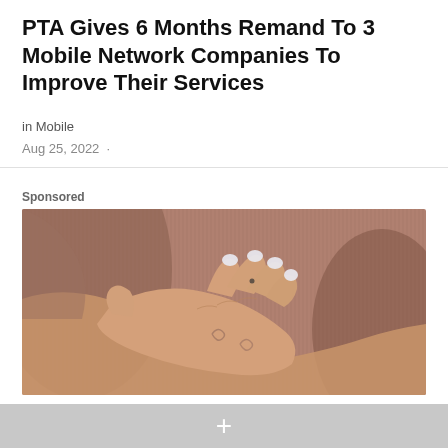PTA Gives 6 Months Remand To 3 Mobile Network Companies To Improve Their Services
in Mobile
Aug 25, 2022 ·
Sponsored
[Figure (photo): A woman's hand with white painted nails resting on her chest over a ribbed brown/mauve fabric top.]